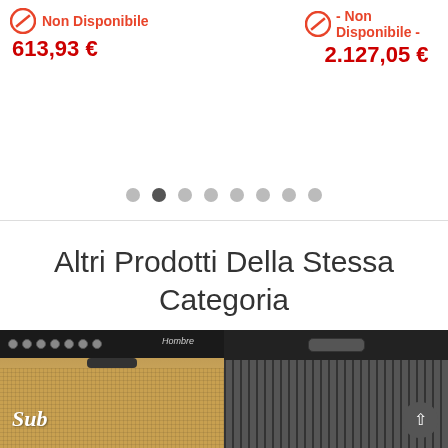Non Disponibile
613,93 €
- Non Disponibile -
2.127,05 €
Altri Prodotti Della Stessa Categoria
[Figure (photo): Guitar amplifier (SUB Hombre) with brown/tan speaker grille and black control panel]
[Figure (photo): Dark/black guitar amplifier cabinet, partially visible]